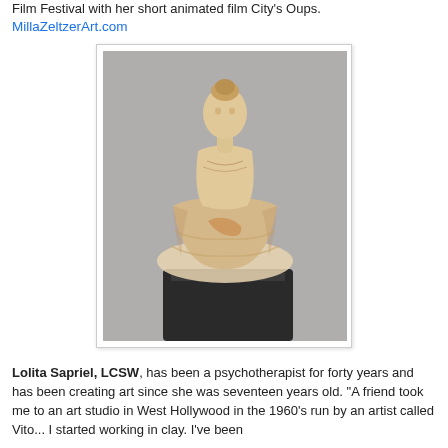Film Festival with her short animated film City's Oups. MillaZeltzerArt.com
[Figure (photo): A cream/amber colored sculpture of a female figure in a dress, shown on a dark base against a grey background.]
Lolita Sapriel, LCSW, has been a psychotherapist for forty years and has been creating art since she was seventeen years old. "A friend took me to an art studio in West Hollywood in the 1960's run by an artist called Vito... I started working in clay. I've been